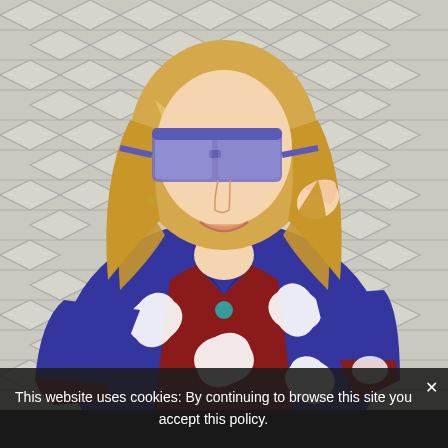[Figure (photo): A smiling blonde woman wearing large square purple/lavender sunglasses and a colorful floral shirt with a blue and dark red/maroon pattern featuring large white flowers. She is standing in front of a white diamond-pattern lattice wall. She wears a turquoise pendant necklace and has one hand raised near her face. The photo is a close-up portrait-style image.]
This website uses cookies: By continuing to browse this site you accept this policy. ✕